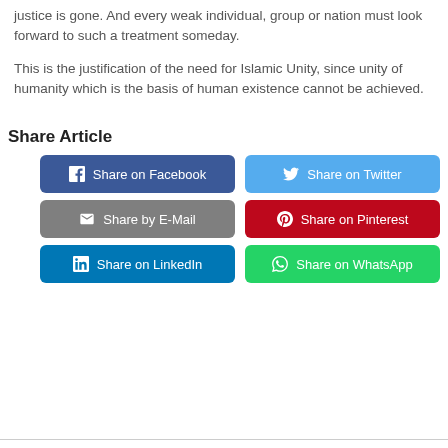justice is gone. And every weak individual, group or nation must look forward to such a treatment someday.
This is the justification of the need for Islamic Unity, since unity of humanity which is the basis of human existence cannot be achieved.
Share Article
[Figure (infographic): Six social media share buttons: Share on Facebook (dark blue), Share on Twitter (light blue), Share by E-Mail (grey), Share on Pinterest (red), Share on LinkedIn (blue), Share on WhatsApp (green)]